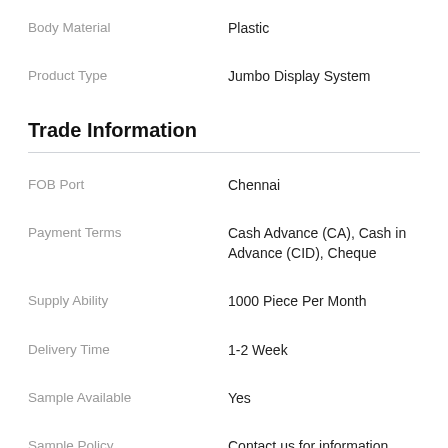Body Material | Plastic
Product Type | Jumbo Display System
Trade Information
FOB Port | Chennai
Payment Terms | Cash Advance (CA), Cash in Advance (CID), Cheque
Supply Ability | 1000 Piece Per Month
Delivery Time | 1-2 Week
Sample Available | Yes
Sample Policy | Contact us for information regarding our sample policy